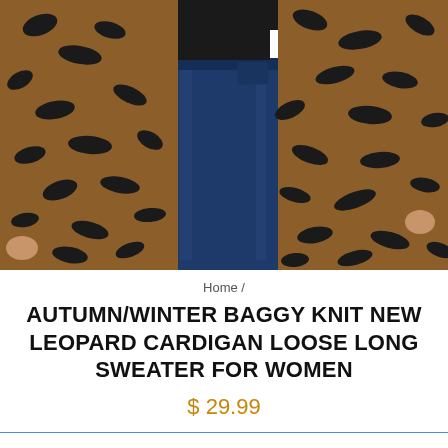[Figure (photo): Woman wearing open-front brown leopard print knit cardigan over a black top and dark blue jeans. The photo is cropped to show the torso and lower body.]
Home /
AUTUMN/WINTER BAGGY KNIT NEW LEOPARD CARDIGAN LOOSE LONG SWEATER FOR WOMEN
$ 29.99